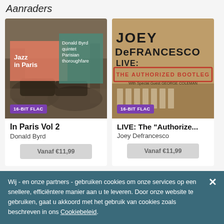Aanraders
[Figure (photo): Album cover for 'In Paris Vol 2' by Donald Byrd — sepia street photo with salmon/orange and teal overlay rectangles showing 'Jazz in Paris' and 'Donald Byrd quintet Parisian thoroughfare'. Badge: 16-BIT FLAC.]
In Paris Vol 2
Donald Byrd
Vanaf €11,99
[Figure (photo): Album cover for 'LIVE: The Authorized Bootleg' by Joey Defrancesco — tan/brown background with bold distressed black text, red stamp-style text 'THE AUTHORIZED BOOTLEG', 'With Special Guest GEORGE COLEMAN'. Badge: 16-BIT FLAC.]
LIVE: The "Authorize..."
Joey Defrancesco
Vanaf €11,99
Wij - en onze partners - gebruiken cookies om onze services op een snellere, efficiëntere manier aan u te leveren. Door onze website te gebruiken, gaat u akkoord met het gebruik van cookies zoals beschreven in ons Cookiebeleid.